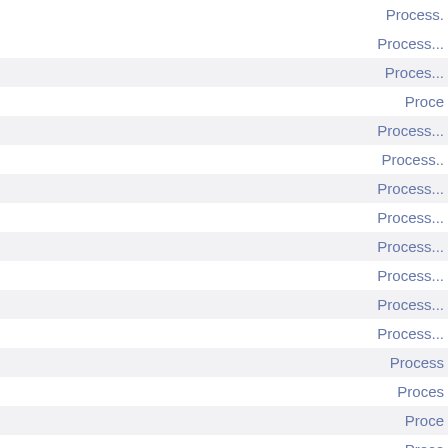Process.
Process...
Proces...
Proce
Process...
Process..
Process...
Process...
Process...
Process...
Process...
Process...
Process...
Process...
Process
Proces
Proce
Proce
Process...
There is no 5n
There is no 5
There is no
There is no
There is no